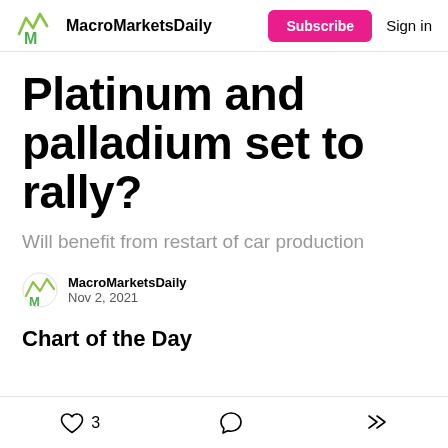MacroMarketsDaily | Subscribe | Sign in
Platinum and palladium set to rally?
Will benefit from restart of car production
MacroMarketsDaily
Nov 2, 2021
Chart of the Day
3 likes · comment · share